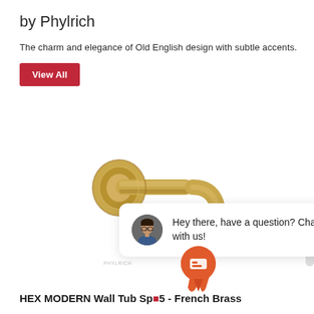by Phylrich
The charm and elegance of Old English design with subtle accents.
View All
[Figure (photo): A gold/brass wall tub spout with a cylindrical mounting flange and curved spout, photographed on white background.]
[Figure (screenshot): Live chat popup widget showing a customer service representative avatar with the message: Hey there, have a question? Chat with us! and a close button.]
HEX MODERN Wall Tub Spout 5 - French Brass